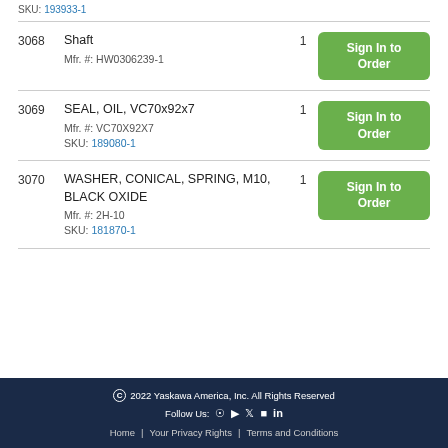SKU: 193933-1
| Item | Description | Qty | Action |
| --- | --- | --- | --- |
| 3068 | Shaft
Mfr. #: HW0306239-1 | 1 | Sign In to Order |
| 3069 | SEAL, OIL, VC70x92x7
Mfr. #: VC70X92X7
SKU: 189080-1 | 1 | Sign In to Order |
| 3070 | WASHER, CONICAL, SPRING, M10, BLACK OXIDE
Mfr. #: 2H-10
SKU: 181870-1 | 1 | Sign In to Order |
© 2022 Yaskawa America, Inc. All Rights Reserved
Follow Us:
Home | Your Privacy Rights | Terms and Conditions